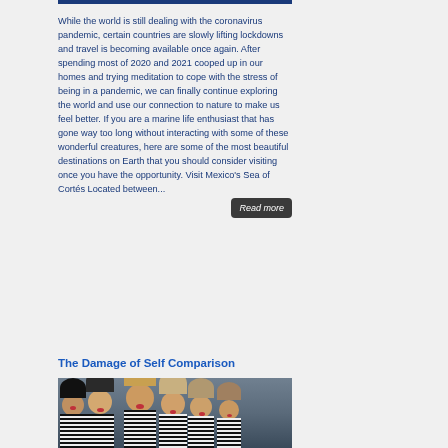While the world is still dealing with the coronavirus pandemic, certain countries are slowly lifting lockdowns and travel is becoming available once again. After spending most of 2020 and 2021 cooped up in our homes and trying meditation to cope with the stress of being in a pandemic, we can finally continue exploring the world and use our connection to nature to make us feel better. If you are a marine life enthusiast that has gone way too long without interacting with some of these wonderful creatures, here are some of the most beautiful destinations on Earth that you should consider visiting once you have the opportunity. Visit Mexico's Sea of Cortés Located between...
The Damage of Self Comparison
[Figure (photo): A group of Barbie dolls with various hair colors wearing black and white striped outfits, photographed against a blue-grey background.]